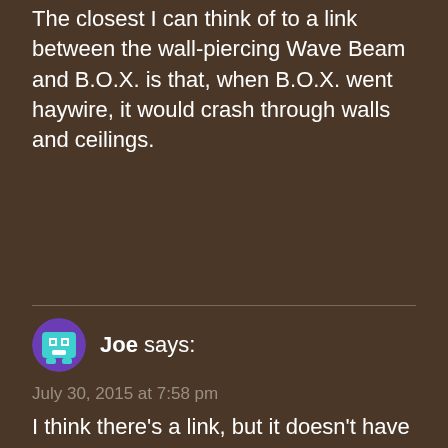The closest I can think of to a link between the wall-piercing Wave Beam and B.O.X. is that, when B.O.X. went haywire, it would crash through walls and ceilings.
Joe says:
July 30, 2015 at 7:58 pm
I think there's a link, but it doesn't have much to do with the wall-piercing aspect of the wave beam. The wave beam is energy—electrical energy. This is why it can travel through walls and objects where plasma and the other weapons cannot: those are projectile weapons, but the wave beam is pure energy. (Because